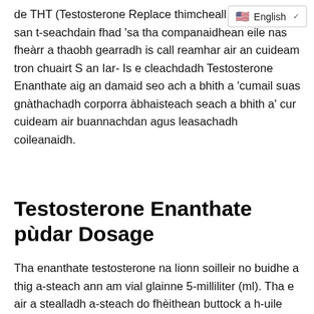de THT (Testosterone Replace... thimcheall air 100mg san t-seachdain fhad 'sa tha companaidhean eile nas fheàrr a thaobh gearradh is call reamhar air an cuideam tron chuairt S an Iar- Is e cleachdadh Testosterone Enanthate aig an damaid seo ach a bhith a 'cumail suas gnàthachadh corporra àbhaisteach seach a bhith a' cur cuideam air buannachdan agus leasachadh coileanaidh.
Testosterone Enanthate pùdar Dosage
Tha enanthate testosterone na lionn soilleir no buidhe a thig a-steach ann am vial glainne 5-milliliter (ml). Tha e air a stealladh a-steach do fhèithean buttock a h-uile aon no ceithir seachdainean. Gus atharrachaidhean...